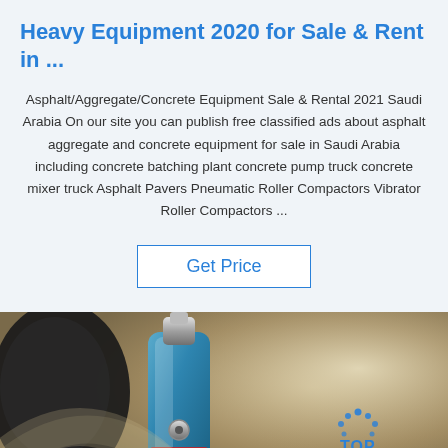Heavy Equipment 2020 for Sale & Rent in ...
Asphalt/Aggregate/Concrete Equipment Sale & Rental 2021 Saudi Arabia On our site you can publish free classified ads about asphalt aggregate and concrete equipment for sale in Saudi Arabia including concrete batching plant concrete pump truck concrete mixer truck Asphalt Pavers Pneumatic Roller Compactors Vibrator Roller Compactors ...
Get Price
[Figure (photo): Close-up photo of a pneumatic/hydraulic tool or compactor component (blue metal body with silver fittings), with a blurred sandy/tan background. Haomei watermark and TOP logo visible.]